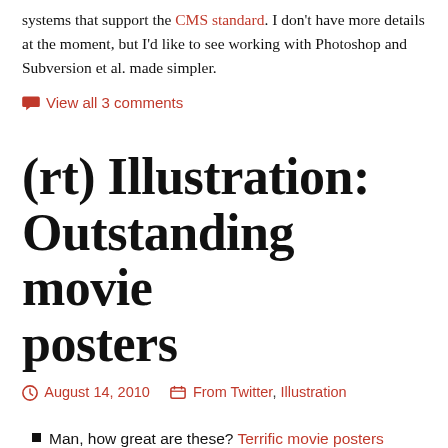systems that support the CMS standard. I don't have more details at the moment, but I'd like to see working with Photoshop and Subversion et al. made simpler.
View all 3 comments
(rt) Illustration: Outstanding movie posters
August 14, 2010   From Twitter, Illustration
Man, how great are these? Terrific movie posters from Olly Moss. (His previous work is also rad.)